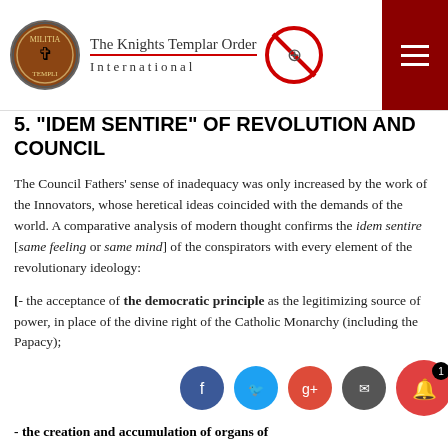The Knights Templar Order International
5. “IDEM SENTIRE” OF REVOLUTION AND COUNCIL
The Council Fathers’ sense of inadequacy was only increased by the work of the Innovators, whose heretical ideas coincided with the demands of the world. A comparative analysis of modern thought confirms the idem sentire [same feeling or same mind] of the conspirators with every element of the revolutionary ideology:
[- the acceptance of the democratic principle as the legitimizing source of power, in place of the divine right of the Catholic Monarchy (including the Papacy);
- the creation and accumulation of organs of